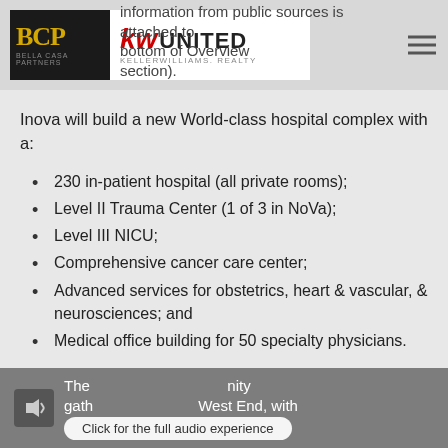information from public sources is attached to ... bottom of Overview section).
Inova will build a new World-class hospital complex with a:
230 in-patient hospital (all private rooms);
Level II Trauma Center (1 of 3 in NoVa);
Level III NICU;
Comprehensive cancer care center;
Advanced services for obstetrics, heart & vascular, & neurosciences; and
Medical office building for 50 specialty physicians.
The ... unity gathering place ... West End, with — Click for the full audio experience